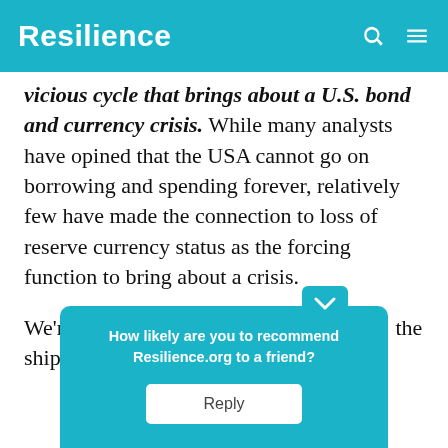Resilience
vicious cycle that brings about a U.S. bond and currency crisis. While many analysts have opined that the USA cannot go on borrowing and spending forever, relatively few have made the connection to loss of reserve currency status as the forcing function to bring about a crisis.
We're already seeing small leaks in the ship's … the idea that th…